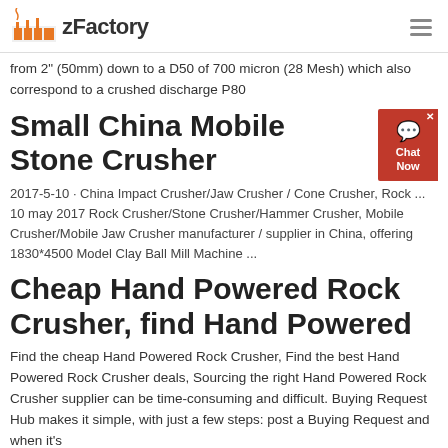zFactory
from 2" (50mm) down to a D50 of 700 micron (28 Mesh) which also correspond to a crushed discharge P80
Small China Mobile Stone Crusher
2017-5-10 · China Impact Crusher/Jaw Crusher / Cone Crusher, Rock ... 10 may 2017 Rock Crusher/Stone Crusher/Hammer Crusher, Mobile Crusher/Mobile Jaw Crusher manufacturer / supplier in China, offering 1830*4500 Model Clay Ball Mill Machine ...
Cheap Hand Powered Rock Crusher, find Hand Powered
Find the cheap Hand Powered Rock Crusher, Find the best Hand Powered Rock Crusher deals, Sourcing the right Hand Powered Rock Crusher supplier can be time-consuming and difficult. Buying Request Hub makes it simple, with just a few steps: post a Buying Request and when it's